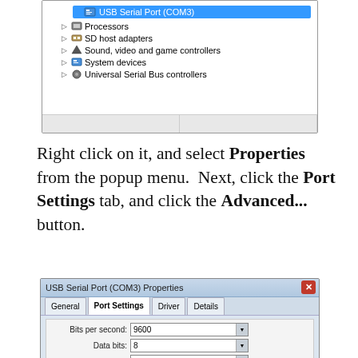[Figure (screenshot): Windows Device Manager showing USB Serial Port (COM3) selected, with entries: Processors, SD host adapters, Sound video and game controllers, System devices, Universal Serial Bus controllers. Bottom status bar visible.]
Right click on it, and select Properties from the popup menu.  Next, click the Port Settings tab, and click the Advanced... button.
[Figure (screenshot): USB Serial Port (COM3) Properties dialog with Port Settings tab active. Shows form fields: Bits per second: 9600, Data bits: 8, Parity: None, and a partially visible fourth field.]